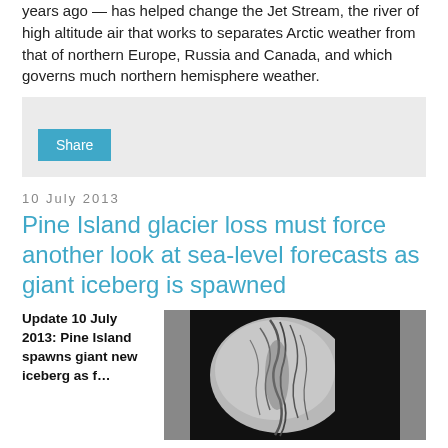years ago — has helped change the Jet Stream, the river of high altitude air that works to separates Arctic weather from that of northern Europe, Russia and Canada, and which governs much northern hemisphere weather.
[Figure (screenshot): Share button on a light grey background social sharing widget]
10 July 2013
Pine Island glacier loss must force another look at sea-level forecasts as giant iceberg is spawned
Update 10 July 2013: Pine Island spawns giant new iceberg as f…
[Figure (photo): Aerial or satellite grayscale image of Pine Island glacier showing cracks and ice formations against dark background]